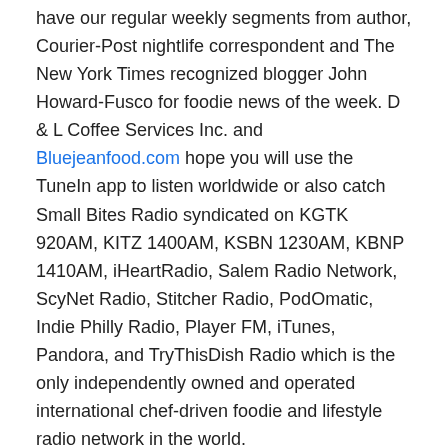have our regular weekly segments from author, Courier-Post nightlife correspondent and The New York Times recognized blogger John Howard-Fusco for foodie news of the week. D & L Coffee Services Inc. and Bluejeanfood.com hope you will use the TuneIn app to listen worldwide or also catch Small Bites Radio syndicated on KGTK 920AM, KITZ 1400AM, KSBN 1230AM, KBNP 1410AM, iHeartRadio, Salem Radio Network, ScyNet Radio, Stitcher Radio, PodOmatic, Indie Philly Radio, Player FM, iTunes, Pandora, and TryThisDish Radio which is the only independently owned and operated international chef-driven foodie and lifestyle radio network in the world.
https://bluejeanfood.com/smallbitesradio/
D & L Coffee Services has an expert staff of highly